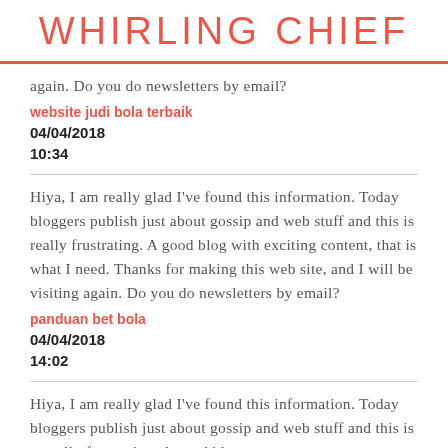WHIRLING CHIEF
again. Do you do newsletters by email?
website judi bola terbaik
04/04/2018
10:34
Hiya, I am really glad I've found this information. Today bloggers publish just about gossip and web stuff and this is really frustrating. A good blog with exciting content, that is what I need. Thanks for making this web site, and I will be visiting again. Do you do newsletters by email?
panduan bet bola
04/04/2018
14:02
Hiya, I am really glad I've found this information. Today bloggers publish just about gossip and web stuff and this is actually frustrating. A good blog